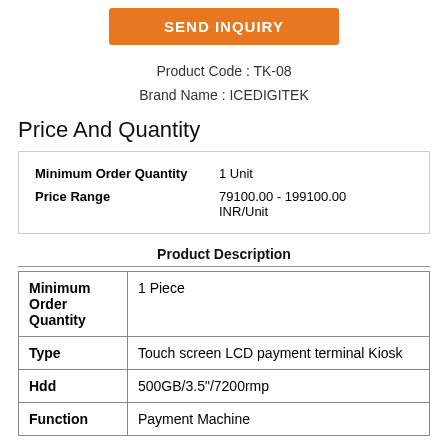[Figure (other): Orange button labeled SEND INQUIRY]
Product Code : TK-08
Brand Name : ICEDIGITEK
Price And Quantity
| Minimum Order Quantity | 1 Unit |
| Price Range | 79100.00 - 199100.00 INR/Unit |
Product Description
| Minimum Order Quantity | 1 Piece |
| Type | Touch screen LCD payment terminal Kiosk |
| Hdd | 500GB/3.5"/7200rmp |
| Function | Payment Machine |